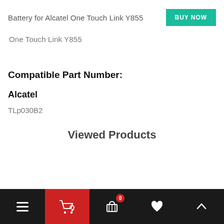Battery for Alcatel One Touch Link Y855
One Touch Link Y855
Compatible Part Number:
Alcatel
TLp030B2
Viewed Products
Bottom navigation bar with menu, cart, basket (0), heart, and up-arrow icons